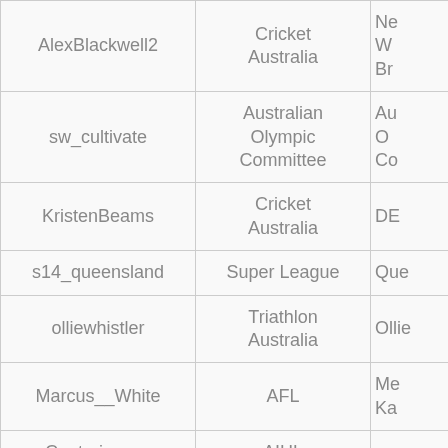| Username | Organization | Name (partial) |
| --- | --- | --- |
| AlexBlackwell2 | Cricket Australia | Ne... W... Br... |
| sw_cultivate | Australian Olympic Committee | Au... O... Co... |
| KristenBeams | Cricket Australia | DE... |
| s14_queensland | Super League | Que... |
| olliewhistler | Triathlon Australia | Ollie... |
| Marcus__White | AFL | Me... Ka... |
| Centericeaus | AIHL |  |
| swansreserves | AFL Canberra | Sydn... Re... |